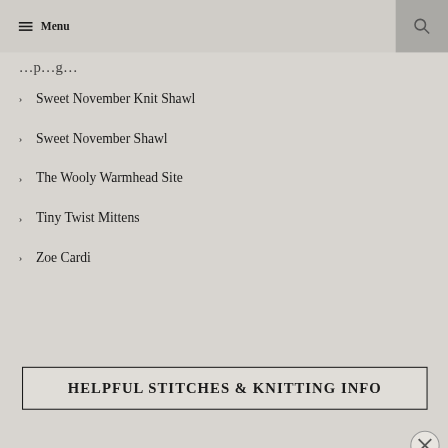Menu
Sweet November Knit Shawl
Sweet November Shawl
The Wooly Warmhead Site
Tiny Twist Mittens
Zoe Cardi
HELPFUL STITCHES & KNITTING INFO
Advertisements
[Figure (screenshot): DuckDuckGo advertisement banner: Search, browse, and email with more privacy. All in One Free App. DuckDuckGo logo.]